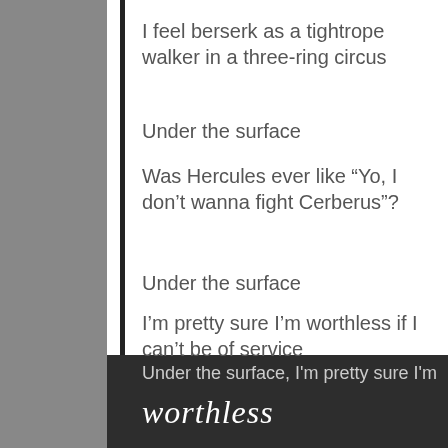I feel berserk as a tightrope walker in a three-ring circus
Under the surface
Was Hercules ever like “Yo, I don’t wanna fight Cerberus”?
Under the surface
I’m pretty sure I’m worthless if I can’t be of service
Under the surface, I'm pretty sure I'm
worthless